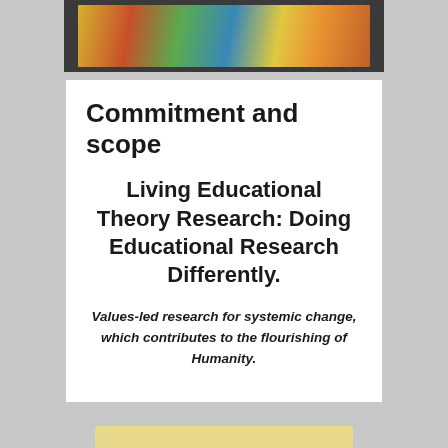[Figure (photo): Photograph of children doing artwork or painting, shown at the top of the page in a dark bordered strip]
Commitment and scope
Living Educational Theory Research: Doing Educational Research Differently.
Values-led research for systemic change, which contributes to the flourishing of Humanity.